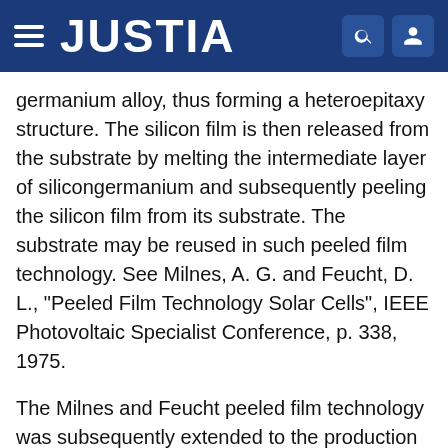JUSTIA
germanium alloy, thus forming a heteroepitaxy structure. The silicon film is then released from the substrate by melting the intermediate layer of silicongermanium and subsequently peeling the silicon film from its substrate. The substrate may be reused in such peeled film technology. See Milnes, A. G. and Feucht, D. L., "Peeled Film Technology Solar Cells", IEEE Photovoltaic Specialist Conference, p. 338, 1975.
The Milnes and Feucht peeled film technology was subsequently extended to the production of gallium arsenide solar cells by employing a thin intermediate layer of gallium aluminum arsenide. In this case, the intermediate layer of gallium aluminum arsenide was selectively etched by hydrofluoric acid and the single crystal thin film of gallium arsenide could then be removed from the substrate, which could be reused. See